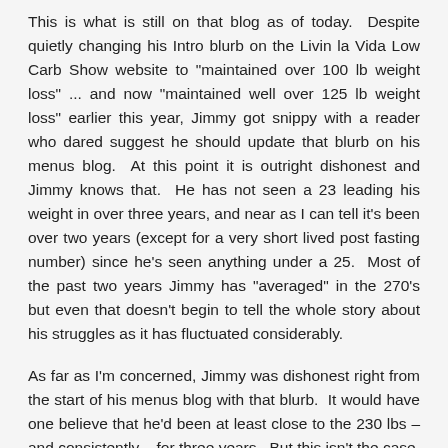This is what is still on that blog as of today. Despite quietly changing his Intro blurb on the Livin la Vida Low Carb Show website to "maintained over 100 lb weight loss" ... and now "maintained well over 125 lb weight loss" earlier this year, Jimmy got snippy with a reader who dared suggest he should update that blurb on his menus blog. At this point it is outright dishonest and Jimmy knows that. He has not seen a 23 leading his weight in over three years, and near as I can tell it's been over two years (except for a very short lived post fasting number) since he's seen anything under a 25. Most of the past two years Jimmy has "averaged" in the 270's but even that doesn't begin to tell the whole story about his struggles as it has fluctuated considerably.
As far as I'm concerned, Jimmy was dishonest right from the start of his menus blog with that blurb. It would have one believe that he'd been at least close to the 230 lbs – and consistently – for three years. But this isn't the case, and you would think that since he discussed his ups and downs in